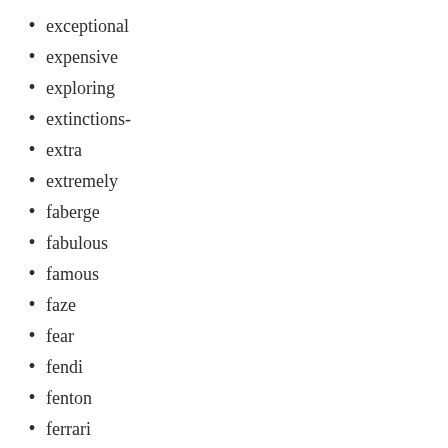exceptional
expensive
exploring
extinctions-
extra
extremely
faberge
fabulous
famous
faze
fear
fendi
fenton
ferrari
filson
final
finch